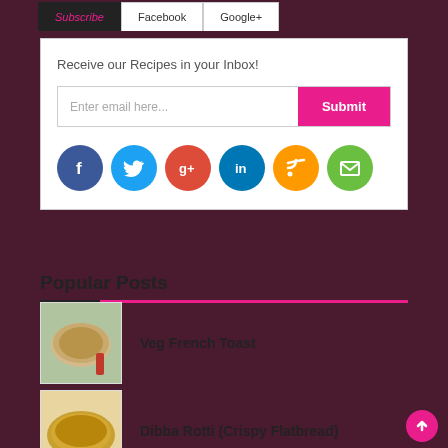Subscribe | Facebook | Google+
Receive our Recipes in your Inbox!
[Figure (screenshot): Email subscription input box with placeholder text 'Enter email here...' and a pink 'Submit' button]
[Figure (infographic): Row of social media icons: Facebook (blue), Twitter (cyan), Google+ (red-orange), LinkedIn (dark blue), RSS (orange), Email (green)]
Popular Posts
[Figure (photo): Thumbnail photo of Veg French Toast on a plate]
Veg French Toast
[Figure (photo): Thumbnail photo of Dibba Rotti (Crispy Flatbread)]
Dibba Rotti (Crispy Flatbread)